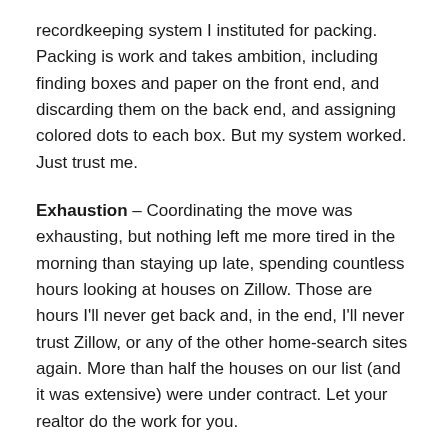recordkeeping system I instituted for packing. Packing is work and takes ambition, including finding boxes and paper on the front end, and discarding them on the back end, and assigning colored dots to each box. But my system worked. Just trust me.
Exhaustion – Coordinating the move was exhausting, but nothing left me more tired in the morning than staying up late, spending countless hours looking at houses on Zillow. Those are hours I'll never get back and, in the end, I'll never trust Zillow, or any of the other home-search sites again. More than half the houses on our list (and it was extensive) were under contract. Let your realtor do the work for you.
Purging – If only there was a frequent donor card to